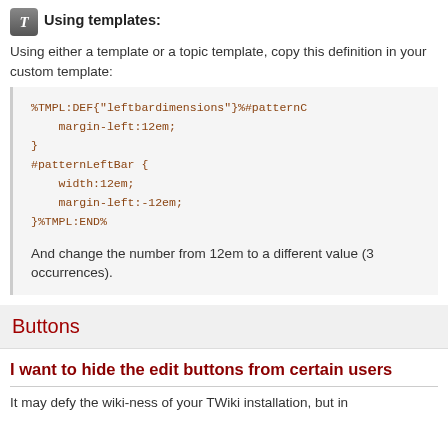Using templates:
Using either a template or a topic template, copy this definition in your custom template:
%TMPL:DEF{"leftbardimensions"}%#patternC
    margin-left:12em;
}
#patternLeftBar {
    width:12em;
    margin-left:-12em;
}%TMPL:END%
And change the number from 12em to a different value (3 occurrences).
Buttons
I want to hide the edit buttons from certain users
It may defy the wiki-ness of your TWiki installation, but in